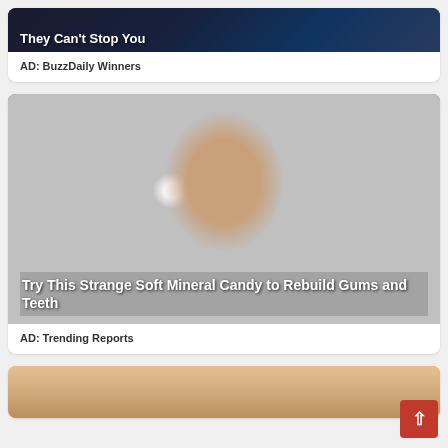[Figure (photo): Dark background image with white bold text overlay reading 'They Can't Stop You']
AD: BuzzDaily Winners
[Figure (photo): Close-up photo of a man with wide eyes and a big grin showing teeth, with bold white text overlay reading 'Try This Strange Soft Mineral Candy to Rebuild Gums and Teeth']
AD: Trending Reports
[Figure (photo): Partial image of a person at the bottom of the page, partially cropped]